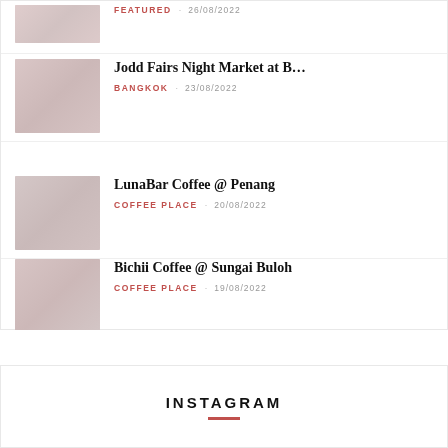[Figure (photo): Partial thumbnail image at top, faded reddish tones]
FEATURED  26/08/2022
[Figure (photo): Thumbnail of Jodd Fairs Night Market, faded reddish tones]
Jodd Fairs Night Market at B…
BANGKOK  23/08/2022
[Figure (photo): Thumbnail of LunaBar Coffee, faded reddish tones]
LunaBar Coffee @ Penang
COFFEE PLACE  20/08/2022
[Figure (photo): Thumbnail of Bichii Coffee, faded reddish tones]
Bichii Coffee @ Sungai Buloh
COFFEE PLACE  19/08/2022
INSTAGRAM